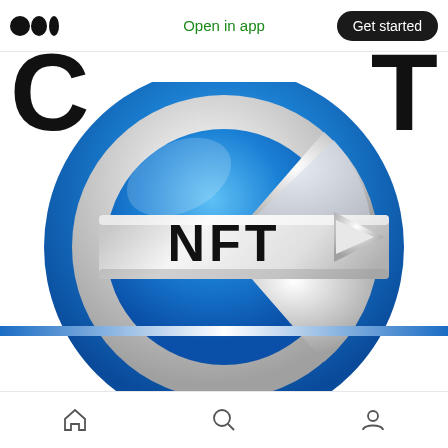Open in app | Get started
[Figure (logo): Medium app screenshot showing a circular NFT logo — a blue ring with silver/grey C-shaped interior and the text 'NFT' in the center, overlaid on partial large black letters]
Home | Search | Profile navigation icons